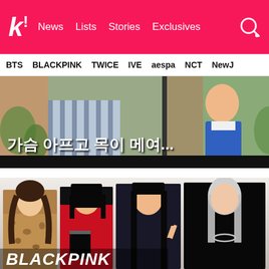k! News Lists Stories Exclusives
BTS
BLACKPINK
TWICE
IVE
aespa
NCT
NewJ
[Figure (screenshot): Korean TV show screenshot with two panels showing people, with Korean subtitle text reading 가슴 아프고 목이 메여...]
[Figure (photo): BLACKPINK group photo showing four members posing together with BLACKPINK text overlay at bottom]